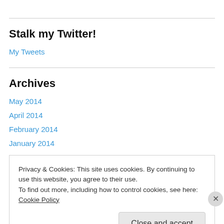Stalk my Twitter!
My Tweets
Archives
May 2014
April 2014
February 2014
January 2014
Privacy & Cookies: This site uses cookies. By continuing to use this website, you agree to their use. To find out more, including how to control cookies, see here: Cookie Policy
Close and accept